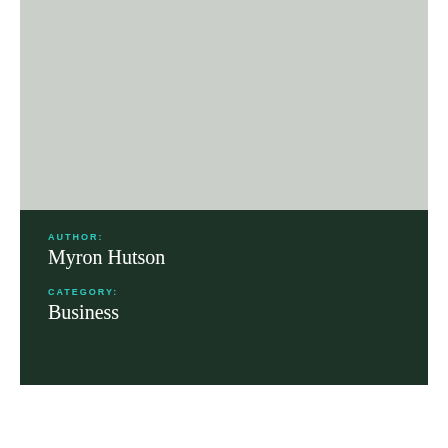[Figure (photo): Light gray placeholder image area at the top of the page]
AUTHOR:
Myron Hutson
CATEGORY:
Business